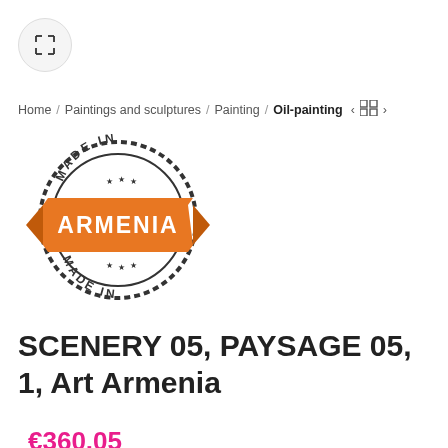[Figure (logo): Made in Armenia stamp/badge logo with orange banner]
Home / Paintings and sculptures / Painting / Oil-painting < grid >
SCENERY 05, PAYSAGE 05, 1, Art Armenia
€360.05
size 45×70 cm.
format 45x70cm.
Add to wishlist